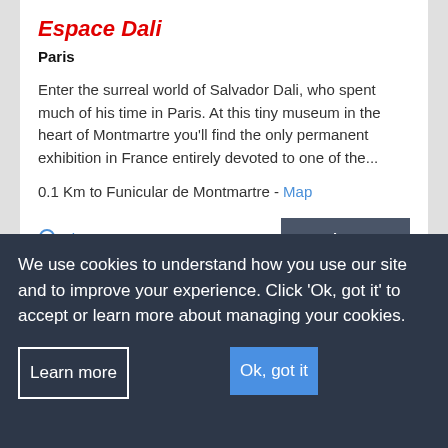Espace Dali
Paris
Enter the surreal world of Salvador Dali, who spent much of his time in Paris. At this tiny museum in the heart of Montmartre you'll find the only permanent exhibition in France entirely devoted to one of the...
0.1 Km to Funicular de Montmartre - Map
View on map
Read more ›
We use cookies to understand how you use our site and to improve your experience. Click 'Ok, got it' to accept or learn more about managing your cookies.
Learn more
Ok, got it